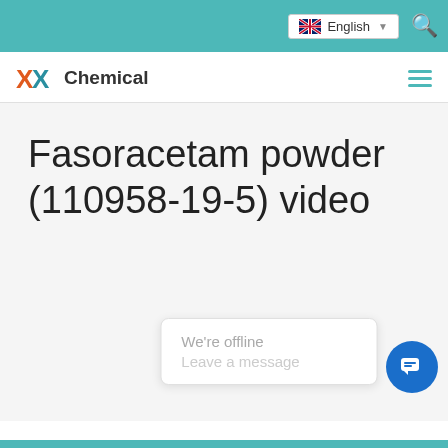English
[Figure (logo): XX Chemical logo with two orange/blue X letters and the word Chemical]
Fasoracetam powder (110958-19-5) video
We're offline
Leave a message